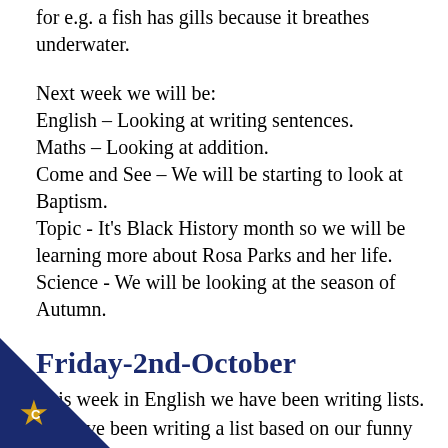for e.g. a fish has gills because it breathes underwater.
Next week we will be:
English – Looking at writing sentences.
Maths – Looking at addition.
Come and See – We will be starting to look at Baptism.
Topic - It's Black History month so we will be learning more about Rosa Parks and her life.
Science - We will be looking at the season of Autumn.
Friday-2nd-October
This week in English we have been writing lists. We have been writing a list based on our funny bones book as well writing a list of what is needed for a birthday party. We have also been thinking about our letters correctly on the line.
[Figure (logo): Dark blue triangle badge in bottom-left corner with a gold/yellow star marked with letter C]